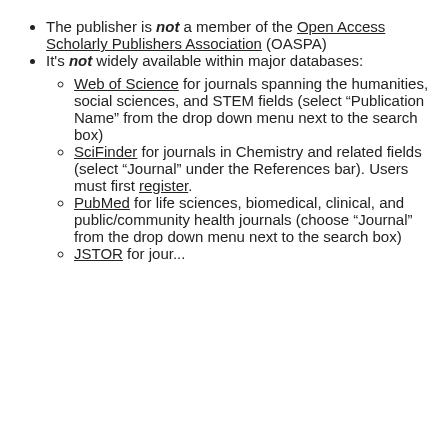The publisher is not a member of the Open Access Scholarly Publishers Association (OASPA)
It's not widely available within major databases:
Web of Science for journals spanning the humanities, social sciences, and STEM fields (select “Publication Name” from the drop down menu next to the search box)
SciFinder for journals in Chemistry and related fields (select “Journal” under the References bar). Users must first register.
PubMed for life sciences, biomedical, clinical, and public/community health journals (choose “Journal” from the drop down menu next to the search box)
JSTOR for ...